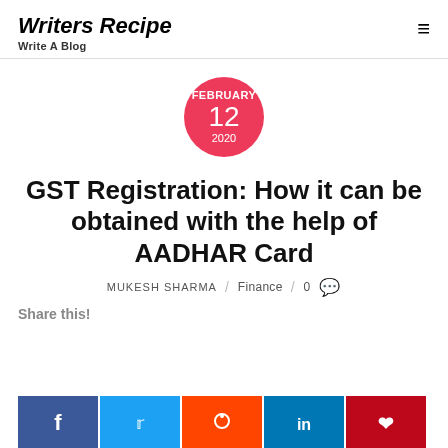Writers Recipe — Write A Blog
[Figure (other): Red circle date badge showing FEBRUARY 12 2020]
GST Registration: How it can be obtained with the help of AADHAR Card
MUKESH SHARMA / Finance / 0
Share this!
[Figure (other): Social share buttons row: Facebook (blue), Twitter (light blue), Reddit (orange), LinkedIn (blue), Pinterest (red)]